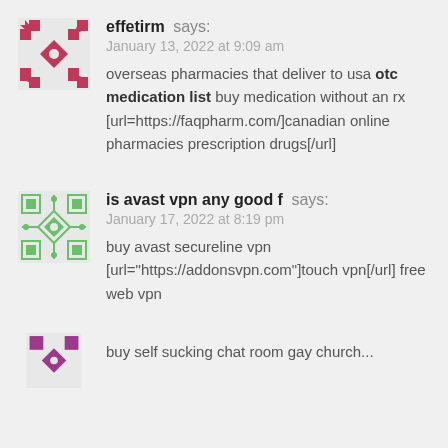[Figure (illustration): Red/pink kaleidoscopic avatar icon for user effetirm]
effetirm says:
January 13, 2022 at 9:09 am
overseas pharmacies that deliver to usa otc medication list buy medication without an rx [url=https://faqpharm.com/]canadian online pharmacies prescription drugs[/url]
[Figure (illustration): Green kaleidoscopic avatar icon for user is avast vpn any good f]
is avast vpn any good f says:
January 17, 2022 at 8:19 pm
buy avast secureline vpn [url="https://addonsvpn.com"]touch vpn[/url] free web vpn
[Figure (illustration): Partial purple/pink kaleidoscopic avatar icon, third comment partially visible at bottom]
buy self sucking chat room gay church...